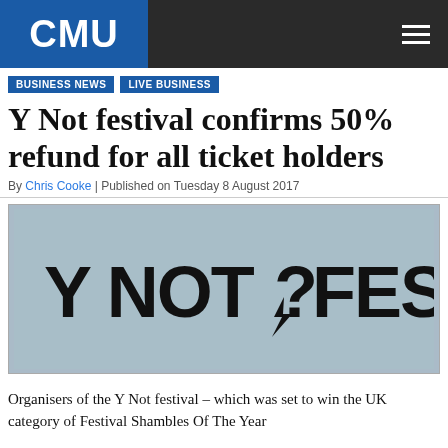CMU
BUSINESS NEWS | LIVE BUSINESS
Y Not festival confirms 50% refund for all ticket holders
By Chris Cooke | Published on Tuesday 8 August 2017
[Figure (logo): Y NOT ? FESTIVAL logo in bold black text on a muted blue-grey background]
Organisers of the Y Not festival – which was set to win the UK category of Festival Shambles Of The Year